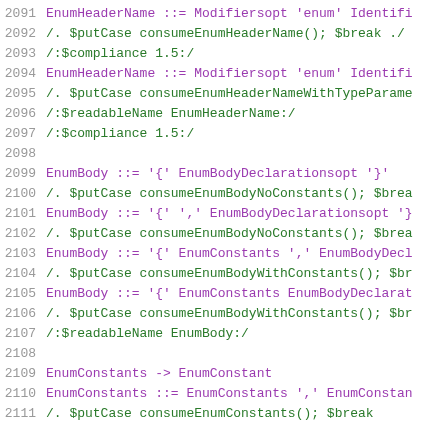Code listing lines 2091-2111 showing grammar rules for EnumHeaderName, EnumBody, EnumConstants in a parser specification file.